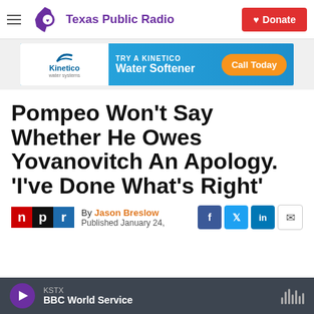Texas Public Radio | Donate
[Figure (other): Kinetico Water Systems advertisement banner: TRY A KINETICO Water Softener — Call Today]
Pompeo Won't Say Whether He Owes Yovanovitch An Apology. 'I've Done What's Right'
By Jason Breslow
Published January 24,
KSTX
BBC World Service